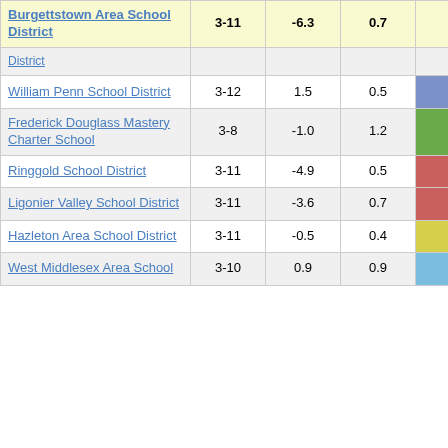| District | Grades |  |  | Score |
| --- | --- | --- | --- | --- |
| Burgettstown Area School District | 3-11 | -6.3 | 0.7 | -8.88 |
| District |  |  |  |  |
| William Penn School District | 3-12 | 1.5 | 0.5 | 3.33 |
| Frederick Douglass Mastery Charter School | 3-8 | -1.0 | 1.2 | -0.83 |
| Ringgold School District | 3-11 | -4.9 | 0.5 | -10.49 |
| Ligonier Valley School District | 3-11 | -3.6 | 0.7 | -5.49 |
| Hazleton Area School District | 3-11 | -0.5 | 0.4 | -1.13 |
| West Middlesex Area School | 3-10 | 0.9 | 0.9 | 1.06 |